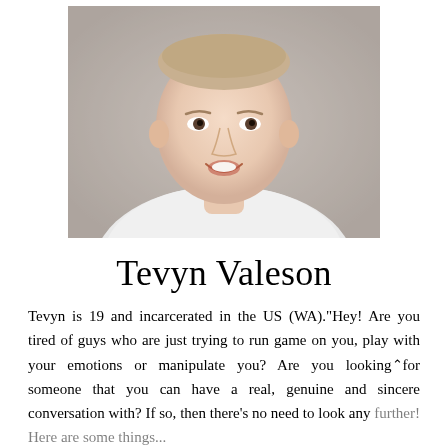[Figure (photo): Headshot photo of a young man with short light hair, wearing a white t-shirt, smiling, against a light gray background]
Tevyn Valeson
Tevyn is 19 and incarcerated in the US (WA)."Hey! Are you tired of guys who are just trying to run game on you, play with your emotions or manipulate you? Are you looking for someone that you can have a real, genuine and sincere conversation with? If so, then there's no need to look any further! Here are some things...